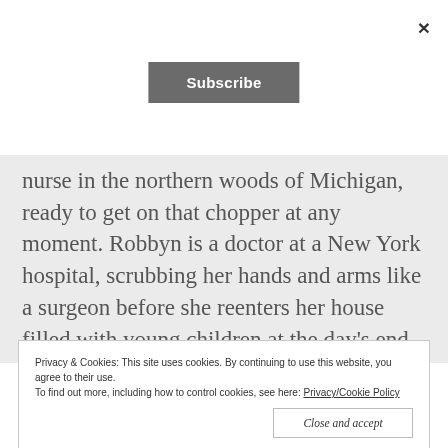×
Subscribe
nurse in the northern woods of Michigan, ready to get on that chopper at any moment. Robbyn is a doctor at a New York hospital, scrubbing her hands and arms like a surgeon before she reenters her house filled with young children at the day's end.
Privacy & Cookies: This site uses cookies. By continuing to use this website, you agree to their use.
To find out more, including how to control cookies, see here: Privacy/Cookie Policy
Close and accept